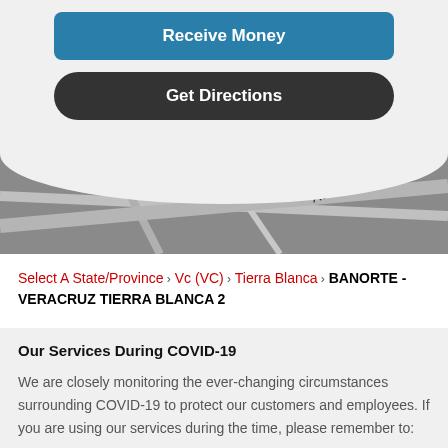[Figure (screenshot): Blue 'Receive Money' button]
[Figure (screenshot): Dark rounded 'Get Directions' button]
[Figure (map): Partial map view showing street with text 'Av. Aquiles S...' with white rounded overlay at top]
Select A State/Province > Vc (VC) > Tierra Blanca > BANORTE - VERACRUZ TIERRA BLANCA 2
Our Services During COVID-19
We are closely monitoring the ever-changing circumstances surrounding COVID-19 to protect our customers and employees. If you are using our services during the time, please remember to: